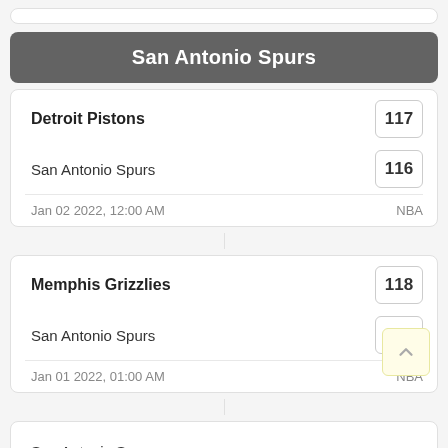San Antonio Spurs
| Team | Score |
| --- | --- |
| Detroit Pistons | 117 |
| San Antonio Spurs | 116 |
| Jan 02 2022, 12:00 AM | NBA |
| Team | Score |
| --- | --- |
| Memphis Grizzlies | 118 |
| San Antonio Spurs | 105 |
| Jan 01 2022, 01:00 AM | NBA |
| Team | Score |
| --- | --- |
| San Antonio Spurs |  |
| Miami Heat |  |